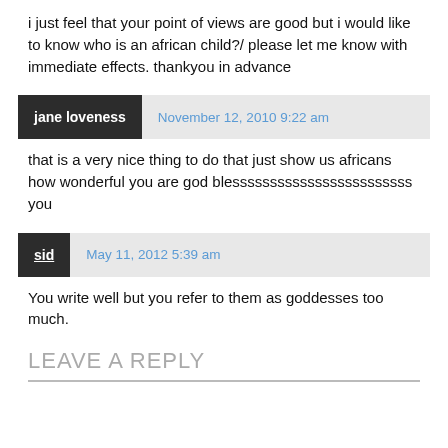i just feel that your point of views are good but i would like to know who is an african child?/ please let me know with immediate effects. thankyou in advance
jane loveness — November 12, 2010 9:22 am
that is a very nice thing to do that just show us africans how wonderful you are god blessssssssssssssssssssssss you
sid — May 11, 2012 5:39 am
You write well but you refer to them as goddesses too much.
LEAVE A REPLY